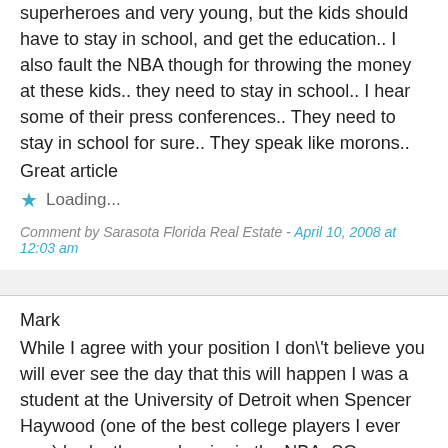superheroes and very young, but the kids should have to stay in school, and get the education.. I also fault the NBA though for throwing the money at these kids.. they need to stay in school.. I hear some of their press conferences.. They need to stay in school for sure.. They speak like morons..
Great article
Loading...
Comment by Sarasota Florida Real Estate - April 10, 2008 at 12:03 am
Mark
While I agree with your position I don\'t believe you will ever see the day that this will happen I was a student at the University of Detroit when Spencer Haywood (one of the best college players I ever saw) broke the age barrier in the NBA. SO you can believe that was a long time ago.
I have felt for a long time that it is the player\'s unions that are failing to meet their responsibility in the case of underage players. I believe the unions should have a